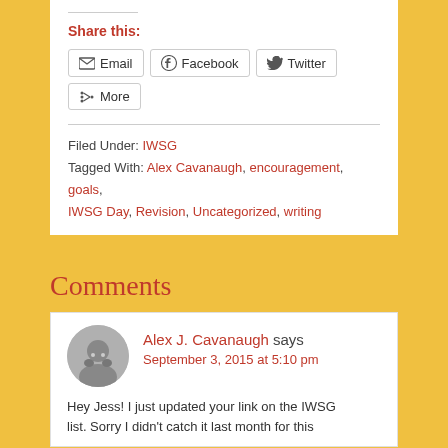Share this:
Email  Facebook  Twitter  More
Filed Under: IWSG
Tagged With: Alex Cavanaugh, encouragement, goals, IWSG Day, Revision, Uncategorized, writing
Comments
Alex J. Cavanaugh says
September 3, 2015 at 5:10 pm
Hey Jess! I just updated your link on the IWSG list. Sorry I didn't catch it last month for this